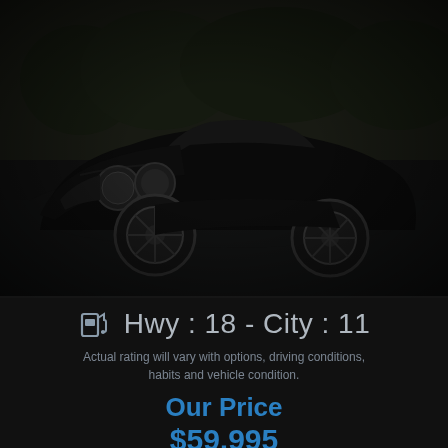[Figure (photo): Black Bentley Continental GTC convertible parked in a driveway, photographed from the front-left angle, with dark hedges in the background. Dark/moody tone.]
Hwy : 18 - City : 11
Actual rating will vary with options, driving conditions, habits and vehicle condition.
Our Price
$59,995